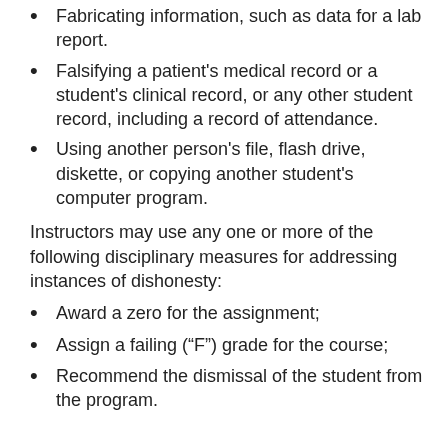Fabricating information, such as data for a lab report.
Falsifying a patient's medical record or a student's clinical record, or any other student record, including a record of attendance.
Using another person's file, flash drive, diskette, or copying another student's computer program.
Instructors may use any one or more of the following disciplinary measures for addressing instances of dishonesty:
Award a zero for the assignment;
Assign a failing (“F”) grade for the course;
Recommend the dismissal of the student from the program.